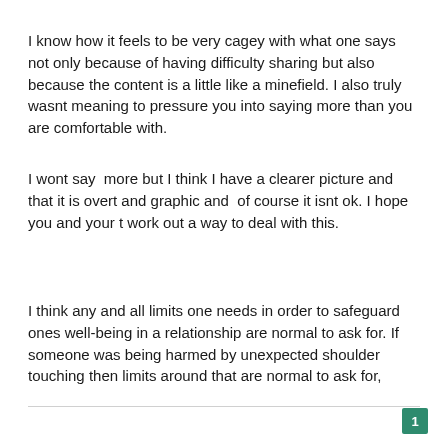I know how it feels to be very cagey with what one says not only because of having difficulty sharing but also because the content is a little like a minefield. I also truly wasnt meaning to pressure you into saying more than you are comfortable with.
I wont say  more but I think I have a clearer picture and that it is overt and graphic and  of course it isnt ok. I hope you and your t work out a way to deal with this.
I think any and all limits one needs in order to safeguard ones well-being in a relationship are normal to ask for. If someone was being harmed by unexpected shoulder touching then limits around that are normal to ask for,
1